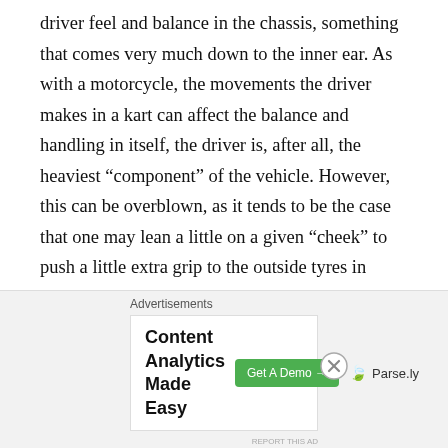driver feel and balance in the chassis, something that comes very much down to the inner ear.  As with a motorcycle, the movements the driver makes in a kart can affect the balance and handling in itself, the driver is, after all, the heaviest “component” of the vehicle. However, this can be overblown, as it tends to be the case that one may lean a little on a given “cheek” to push a little extra grip to the outside tyres in some turns, but there is no real clambering around to be done.  Karts, of course, have no suspension, at least in a “springs, dampers and roll bars” sense, so the movement in the chassis comes from hubs, and steering mounts, as well as the flex of the tubular metal frame.  As with any four wheeled vehicle, the
[Figure (other): Advertisement banner: 'Content Analytics Made Easy' with a green 'Get A Demo' button and Parse.ly logo]